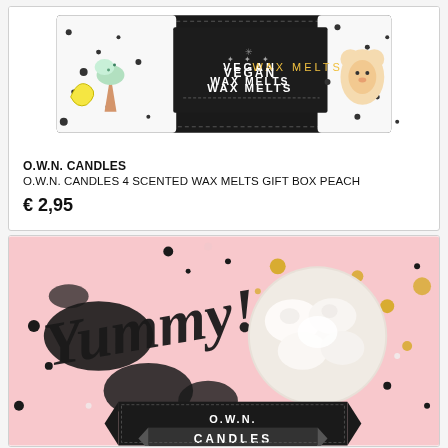[Figure (photo): Product image of O.W.N. Candles Vegan Wax Melts Gift Box Peach packaging, showing ice cream cone illustrations and 'VEGAN WAX MELTS' text on the box]
O.W.N. CANDLES
O.W.N. CANDLES 4 SCENTED WAX MELTS GIFT BOX PEACH
€ 2,95
[Figure (photo): Product image of O.W.N. Candles wax melts in pink packaging with black ink splatter pattern, cursive 'Yummy!' text, gold dots, and circular window showing white wax melts inside, with O.W.N. Candles label at bottom]